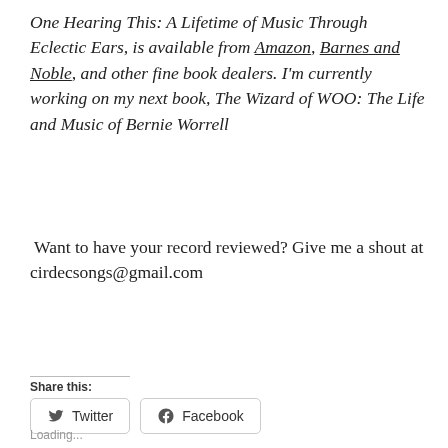One Hearing This: A Lifetime of Music Through Eclectic Ears, is available from Amazon, Barnes and Noble, and other fine book dealers. I'm currently working on my next book, The Wizard of WOO: The Life and Music of Bernie Worrell
Want to have your record reviewed? Give me a shout at cirdecsongs@gmail.com
Share this:
Twitter  Facebook
Loading...